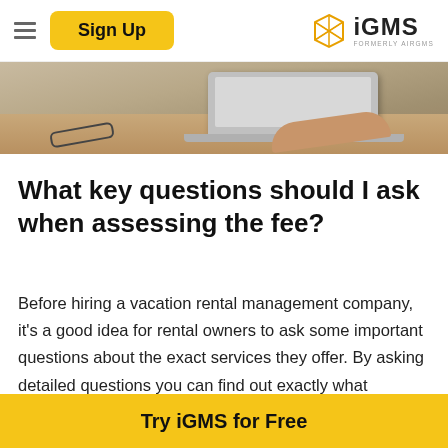Sign Up | iGMS FORMERLY AIRGMS
[Figure (photo): Person's hand near a laptop on a wooden desk, top-down view]
What key questions should I ask when assessing the fee?
Before hiring a vacation rental management company, it's a good idea for rental owners to ask some important questions about the exact services they offer. By asking detailed questions you can find out exactly what vacation rental property management
Try iGMS for Free